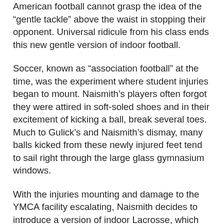American football cannot grasp the idea of the “gentle tackle” above the waist in stopping their opponent. Universal ridicule from his class ends this new gentle version of indoor football.
Soccer, known as “association football” at the time, was the experiment where student injuries began to mount. Naismith’s players often forgot they were attired in soft-soled shoes and in their excitement of kicking a ball, break several toes. Much to Gulick’s and Naismith’s dismay, many balls kicked from these newly injured feet tend to sail right through the large glass gymnasium windows.
With the injuries mounting and damage to the YMCA facility escalating, Naismith decides to introduce a version of indoor Lacrosse, which he had played in Montreal. As the Canadian national game at the time, Naismith knew half of his students, who were Canadian, would at least grasp the rules of the sport. Unfortunately, indoor lacrosse would be recorded as his greatest debacle.
Naismith’s Canadian students not only knew the game, they used the tactics and tricks they had honed over the years of